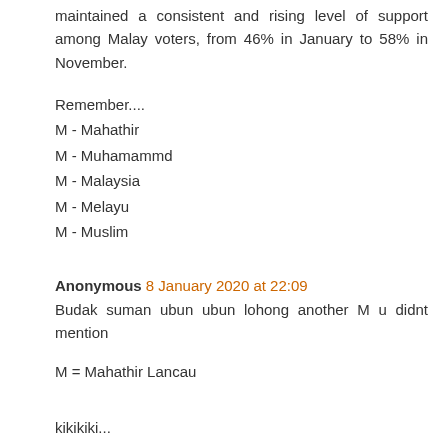maintained a consistent and rising level of support among Malay voters, from 46% in January to 58% in November.
Remember....
M - Mahathir
M - Muhamammd
M - Malaysia
M - Melayu
M - Muslim
Anonymous 8 January 2020 at 22:09
Budak suman ubun ubun lohong another M u didnt mention
M = Mahathir Lancau
kikikiki...
Anonymous